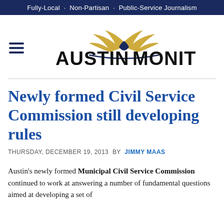Fully-Local · Non-Partisan · Public-Service Journalism
[Figure (logo): Austin Monitor logo with eagle wings above text reading AUSTIN MONITOR]
Newly formed Civil Service Commission still developing rules
THURSDAY, DECEMBER 19, 2013 BY JIMMY MAAS
Austin's newly formed Municipal Civil Service Commission continued to work at answering a number of fundamental questions aimed at developing a set of